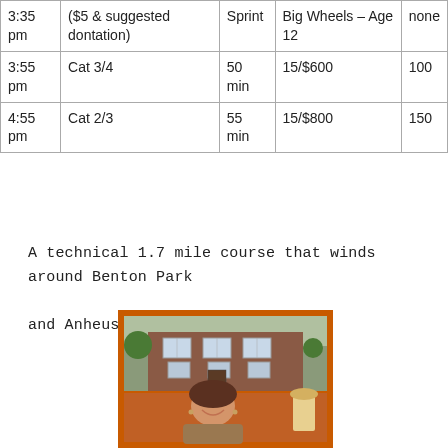| Time | Category | Duration | Prize/Purse | Entries |
| --- | --- | --- | --- | --- |
| 3:35 pm | ($5 & suggested dontation) | Sprint | Big Wheels – Age 12 | none |
| 3:55 pm | Cat 3/4 | 50 min | 15/$600 | 100 |
| 4:55 pm | Cat 2/3 | 55 min | 15/$800 | 150 |
A technical 1.7 mile course that winds around Benton Park and Anheuser-Busch
[Figure (photo): Composite image with orange background showing Tina Siebert. Top portion shows a brick building/house exterior. A diagonal orange banner ribbon reads 'Tina Siebert' in italic white text. Bottom portion shows a smiling woman with brown hair wearing a tan jacket, with a lamp visible in the background on an orange background.]